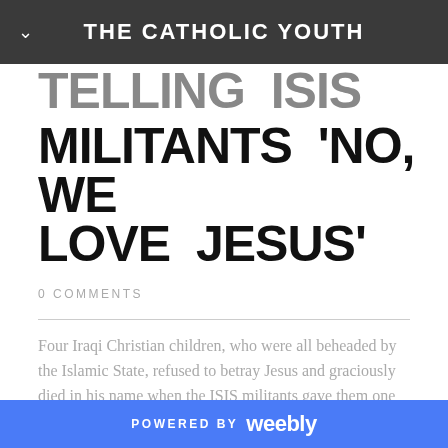THE CATHOLIC YOUTH
TELLING ISIS MILITANTS 'NO, WE LOVE JESUS'
0 COMMENTS
Four Iraqi Christian children, who were all beheaded by the Islamic State, refused to betray Jesus and graciously died in his name when the ISIS militants gave them one last chance to say the Islamic words of conversion, the Rev. Canon Andrew White revealed in a recent interview. In an interview last week with the Christian Broadcast Network published on the Orthodox Christian Network, White, who is...
POWERED BY weebly